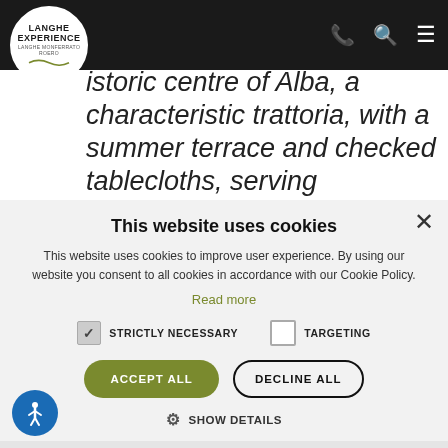Langhe Experience — Navigation bar with logo, phone, search, menu icons
historic centre of Alba, a characteristic trattoria, with a summer terrace and checked tablecloths, serving traditional Langhe cuisine.
Strolling through the streets of Alba's old town
This website uses cookies
This website uses cookies to improve user experience. By using our website you consent to all cookies in accordance with our Cookie Policy.
Read more
STRICTLY NECESSARY   TARGETING
ACCEPT ALL   DECLINE ALL
SHOW DETAILS